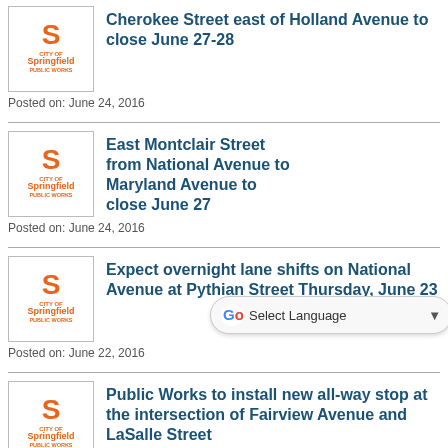Cherokee Street east of Holland Avenue to close June 27-28
Posted on: June 24, 2016
East Montclair Street from National Avenue to Maryland Avenue to close June 27
Posted on: June 24, 2016
Expect overnight lane shifts on National Avenue at Pythian Street Thursday, June 23
Posted on: June 22, 2016
Public Works to install new all-way stop at the intersection of Fairview Avenue and LaSalle Street
Posted on: June 17, 2016
East Atlantic Street from Glenstone Avenue to North Avenue B to close June